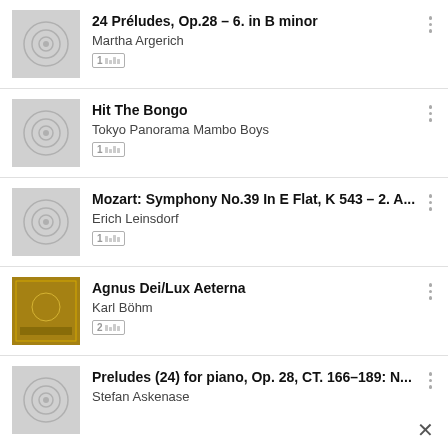24 Préludes, Op.28 – 6. in B minor
Martha Argerich
1???
Hit The Bongo
Tokyo Panorama Mambo Boys
1???
Mozart: Symphony No.39 In E Flat, K 543 – 2. A...
Erich Leinsdorf
1???
Agnus Dei/Lux Aeterna
Karl Böhm
2???
Preludes (24) for piano, Op. 28, CT. 166–189: N...
Stefan Askenase